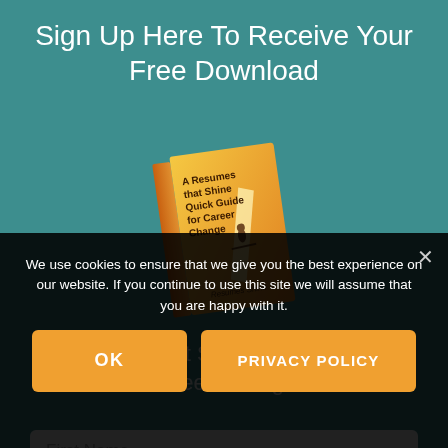Sign Up Here To Receive Your Free Download
[Figure (illustration): Book cover for 'A Resumes that Shine Quick Guide for Career Change' — orange book cover with a figure walking on a beam of light, tilted at an angle]
A Resumes that Shine Quick Guide for Career Change.
First Name
We use cookies to ensure that we give you the best experience on our website. If you continue to use this site we will assume that you are happy with it.
OK
PRIVACY POLICY